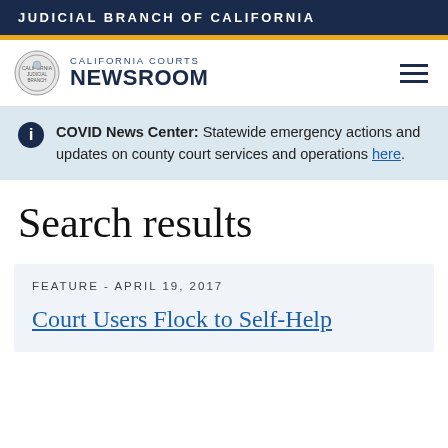JUDICIAL BRANCH OF CALIFORNIA
[Figure (logo): California Courts Newsroom logo with seal]
COVID News Center: Statewide emergency actions and updates on county court services and operations here.
Search results
FEATURE - APRIL 19, 2017
Court Users Flock to Self-Help